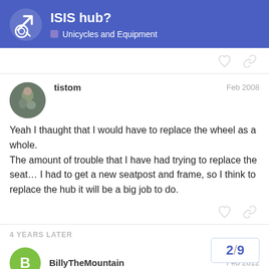ISIS hub? — Unicycles and Equipment
tistom  Feb 2008
Yeah I thaught that I would have to replace the wheel as a whole.
The amount of trouble that I have had trying to replace the seat... I had to get a new seatpost and frame, so I think to replace the hub it will be a big job to do.
4 YEARS LATER
BillyTheMountain  Feb 2012
2/9